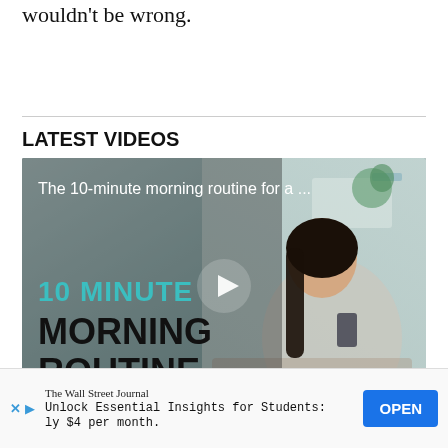prince charming to knock on their door and you wouldn't be wrong.
LATEST VIDEOS
[Figure (screenshot): Video thumbnail showing a woman sitting on a couch looking upward, with text overlay reading '10 MINUTES MORNING ROUTINE' in teal and black, a play button in the center, and a title bar reading 'The 10-minute morning routine for a ...']
But there is a lot more to being a hopeless romantic than yo
The Wall Street Journal
Unlock Essential Insights for Students:
ly $4 per month.